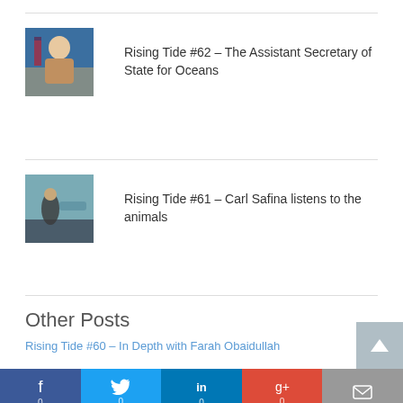[Figure (photo): Thumbnail photo of a woman in a tan blazer standing in front of an American flag and blue background]
Rising Tide #62 – The Assistant Secretary of State for Oceans
[Figure (photo): Thumbnail photo of a person outdoors near water and rocks]
Rising Tide #61 – Carl Safina listens to the animals
Other Posts
Rising Tide #60 – In Depth with Farah Obaidullah
[Figure (other): Social sharing bar with Facebook, Twitter, LinkedIn, Google+, and Email buttons, each showing 0 shares]